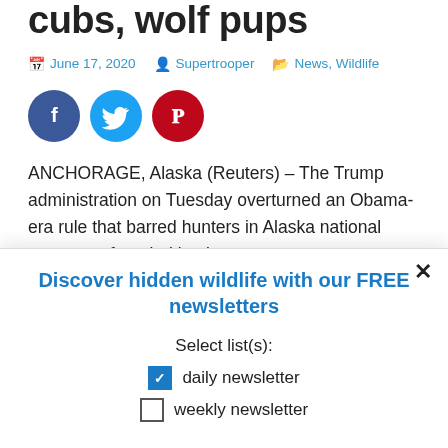cubs, wolf pups
June 17, 2020  Supertrooper  News, Wildlife
[Figure (other): Social media share icons: Facebook (dark blue circle with f), Twitter (light blue circle with bird), Pinterest (red circle with P)]
ANCHORAGE, Alaska (Reuters) – The Trump administration on Tuesday overturned an Obama-era rule that barred hunters in Alaska national preserves from baiting bear traps or
Discover hidden wildlife with our FREE newsletters
Select list(s):
daily newsletter
weekly newsletter